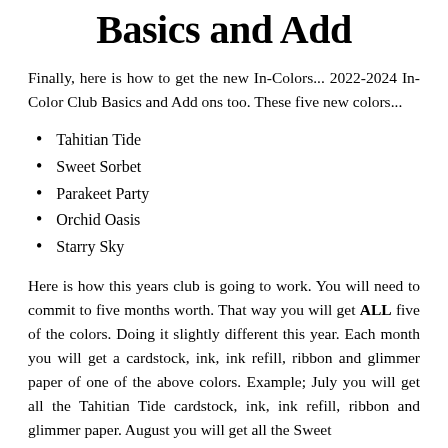Basics and Add
Finally, here is how to get the new In-Colors... 2022-2024 In-Color Club Basics and Add ons too. These five new colors...
Tahitian Tide
Sweet Sorbet
Parakeet Party
Orchid Oasis
Starry Sky
Here is how this years club is going to work. You will need to commit to five months worth. That way you will get ALL five of the colors. Doing it slightly different this year. Each month you will get a cardstock, ink, ink refill, ribbon and glimmer paper of one of the above colors. Example; July you will get all the Tahitian Tide cardstock, ink, ink refill, ribbon and glimmer paper. August you will get all the Sweet